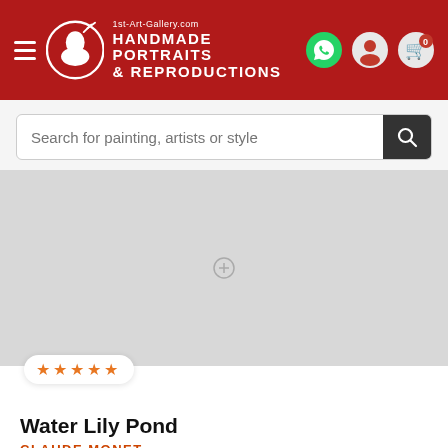[Figure (logo): 1st-Art-Gallery.com header with logo showing silhouette profile in circle, text HANDMADE PORTRAITS & REPRODUCTIONS on red background, hamburger menu, WhatsApp icon, user icon, cart icon with 0 badge]
Search for painting, artists or style
[Figure (photo): Light gray placeholder area showing a painting image (Water Lily Pond by Claude Monet) with a loading/placeholder state]
Water Lily Pond
CLAUDE MONET
PICK SIZE    PICK FRAME